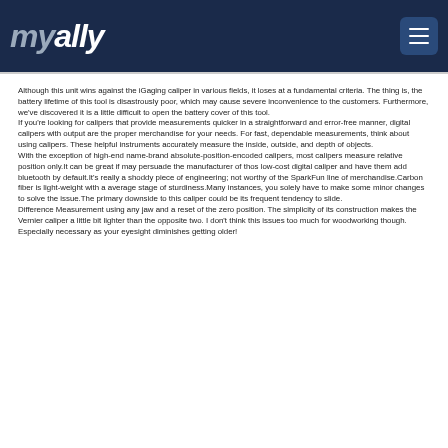myally
Although this unit wins against the iGaging caliper in various fields, it loses at a fundamental criteria. The thing is, the battery lifetime of this tool is disastrously poor, which may cause severe inconvenience to the customers. Furthermore, we've discovered it is a little difficult to open the battery cover of this tool.
If you're looking for calipers that provide measurements quicker in a straightforward and error-free manner, digital calipers with output are the proper merchandise for your needs. For fast, dependable measurements, think about using calipers. These helpful instruments accurately measure the inside, outside, and depth of objects.
With the exception of high-end name-brand absolute-position-encoded calipers, most calipers measure relative position only.It can be great if may persuade the manufacturer of thos low-cost digital caliper and have them add bluetooth by default.It's really a shoddy piece of engineering; not worthy of the SparkFun line of merchandise.Carbon fiber is light-weight with a average stage of sturdiness.Many instances, you solely have to make some minor changes to solve the issue.The primary downside to this caliper could be its frequent tendency to slide.
Difference Measurement using any jaw and a reset of the zero position. The simplicity of its construction makes the Vernier caliper a little bit lighter than the opposite two. I don't think this issues too much for woodworking though. Especially necessary as your eyesight diminishes getting older!